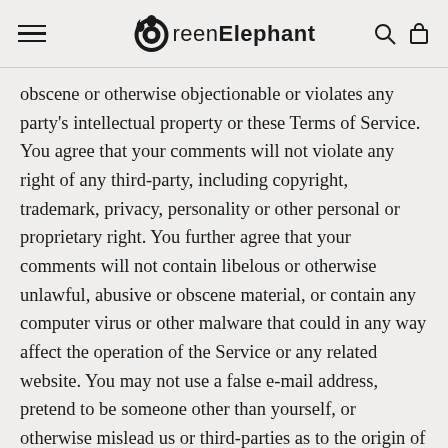GreenElephant
obscene or otherwise objectionable or violates any party's intellectual property or these Terms of Service. You agree that your comments will not violate any right of any third-party, including copyright, trademark, privacy, personality or other personal or proprietary right. You further agree that your comments will not contain libelous or otherwise unlawful, abusive or obscene material, or contain any computer virus or other malware that could in any way affect the operation of the Service or any related website. You may not use a false e-mail address, pretend to be someone other than yourself, or otherwise mislead us or third-parties as to the origin of any comments. You are solely responsible